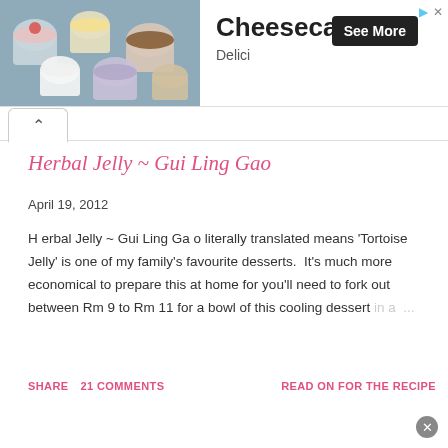[Figure (photo): Advertisement banner showing dessert cups/jars with cheesecakes, strawberries, chocolate toppings on a dark surface. Text reads 'Cheesecakes', 'Delici', with a 'See More' button.]
Herbal Jelly ~ Gui Ling Gao
April 19, 2012
H erbal Jelly ~ Gui Ling Ga o literally translated means 'Tortoise Jelly' is one of my family's favourite desserts.  It's much more economical to prepare this at home for you'll need to fork out between Rm 9 to Rm 11 for a bowl of this cooling dessert in a ...
SHARE    21 COMMENTS    READ ON FOR THE RECIPE